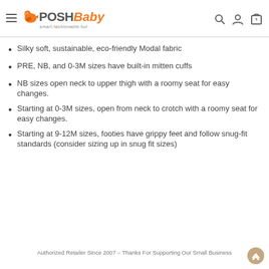[Figure (logo): Posh Baby logo with orange bird icon, 'POSH' in gray and 'Baby' in orange italic, tagline 'smart.fashionable.fun' below, alongside hamburger menu icon, search icon, user icon, and cart icon with 0 badge.]
Silky soft, sustainable, eco-friendly Modal fabric
PRE, NB, and 0-3M sizes have built-in mitten cuffs
NB sizes open neck to upper thigh with a roomy seat for easy changes.
Starting at 0-3M sizes, open from neck to crotch with a roomy seat for easy changes.
Starting at 9-12M sizes, footies have grippy feet and follow snug-fit standards (consider sizing up in snug fit sizes)
Authorized Retailer Since 2007 – Thanks For Supporting Our Small Business